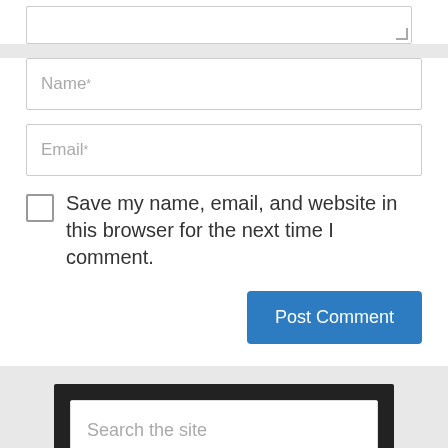[Figure (screenshot): Partial textarea input field at top of page]
Name*
Email*
Save my name, email, and website in this browser for the next time I comment.
Post Comment
Search the site
Search